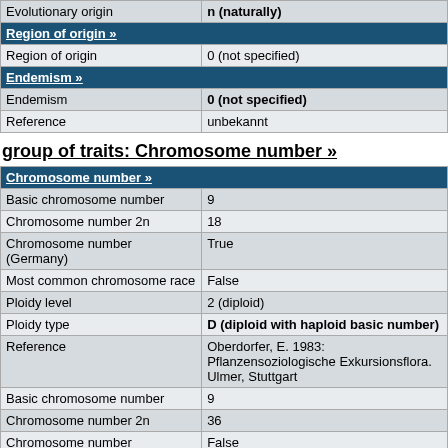|  |  |
| --- | --- |
| Evolutionary origin | n (naturally) |
| Region of origin » |  |
| Region of origin | 0 (not specified) |
| Endemism » |  |
| Endemism | 0 (not specified) |
| Reference | unbekannt |
group of traits: Chromosome number »
| Chromosome number » |  |
| --- | --- |
| Basic chromosome number | 9 |
| Chromosome number 2n | 18 |
| Chromosome number (Germany) | True |
| Most common chromosome race | False |
| Ploidy level | 2 (diploid) |
| Ploidy type | D (diploid with haploid basic number) |
| Reference | Oberdorfer, E. 1983: Pflanzensoziologische Exkursionsflora. Ulmer, Stuttgart |
| Basic chromosome number | 9 |
| Chromosome number 2n | 36 |
| Chromosome number (Germany) | False |
| Most common chromosome race | False |
| Ploidy level |  |
| Ploidy type |  |
| Reference | Oberdorfer, E. 1983: Pflanzensoziologische Exkursionsflora. Ulmer, Stuttgart |
group of traits: Phylogeny »